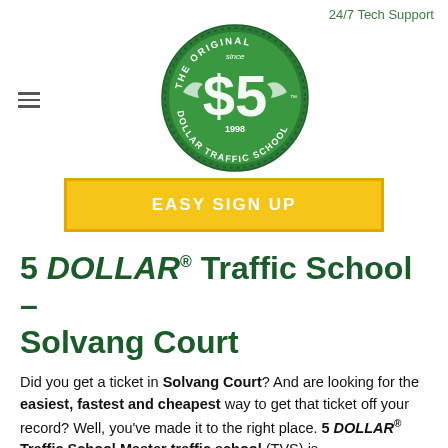24/7 Tech Support
[Figure (logo): The Original $5 Dollar Traffic School circular green logo, since 1998]
[Figure (other): EASY SIGN UP yellow button with gold border]
5 DOLLAR® Traffic School – Solvang Court
Did you get a ticket in Solvang Court? And are looking for the easiest, fastest and cheapest way to get that ticket off your record? Well, you've made it to the right place. 5 DOLLAR® Traffic School Master traffic school (TVS) is